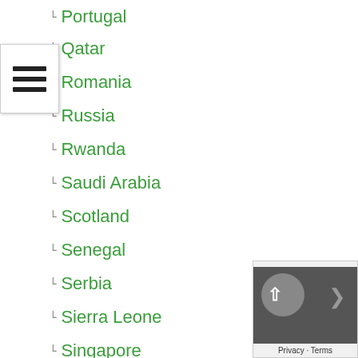Portugal
Qatar
Romania
Russia
Rwanda
Saudi Arabia
Scotland
Senegal
Serbia
Sierra Leone
Singapore
Slovakia
Slovenia
Solomon Islands
South Africa
South America
South Korea
South Sudan
Southeast Asia
Spain
Sri Lanka
Sudan
Suriname